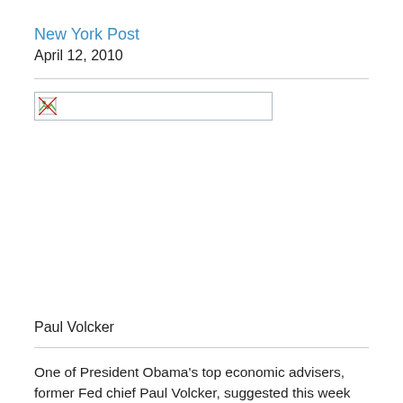New York Post
April 12, 2010
[Figure (photo): Broken/missing image placeholder]
Paul Volcker
One of President Obama’s top economic advisers, former Fed chief Paul Volcker, suggested this week that it’s time